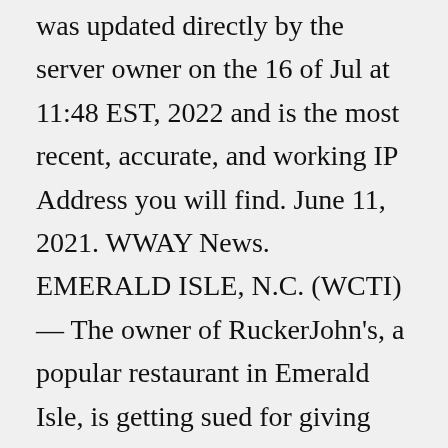was updated directly by the server owner on the 16 of Jul at 11:48 EST, 2022 and is the most recent, accurate, and working IP Address you will find. June 11, 2021. WWAY News. EMERALD ISLE, N.C. (WCTI) — The owner of RuckerJohn's, a popular restaurant in Emerald Isle, is getting sued for giving employees Sundays off. Emerald Plantation, the ...Jun 26, 2022 · All our vacation homes and villas are close to Disney World (only 3 miles or 5 minutes)